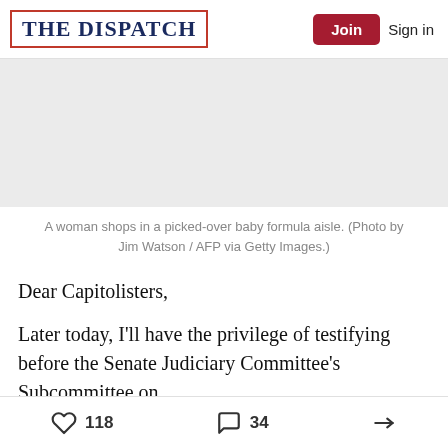THE DISPATCH | Join | Sign in
[Figure (photo): Empty baby formula aisle photo placeholder (gray box)]
A woman shops in a picked-over baby formula aisle. (Photo by Jim Watson / AFP via Getty Images.)
Dear Capitolisters,
Later today, I'll have the privilege of testifying before the Senate Judiciary Committee's Subcommittee on
118 likes  34 comments  share